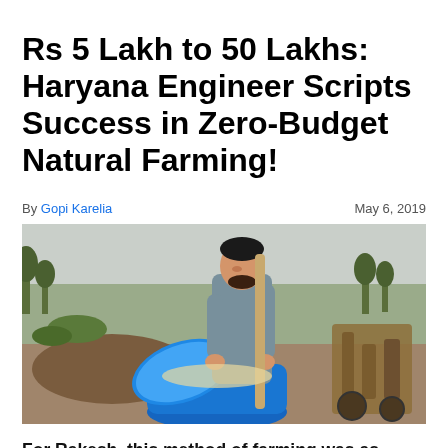Rs 5 Lakh to 50 Lakhs: Haryana Engineer Scripts Success in Zero-Budget Natural Farming!
By Gopi Karelia    May 6, 2019
[Figure (photo): A man working in a farm field, using a large blue shovel to mix contents in a blue barrel, with farm equipment and fields visible in the background.]
For Rakesh, this method of farming was as good as finding a genie! From the profits earned in the very first year itself, he hired 20 labourers. Today, besides providing them with food and